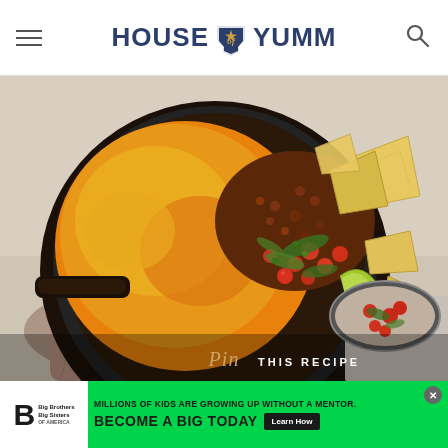HOUSE OF YUMM
[Figure (photo): Overhead photo of a cast iron skillet containing a cheesy baked dip topped with ground meat, cherry tomatoes, fresh herbs (cilantro), lime wedges, and tortilla chips. The skillet sits on a brown linen cloth. Bottom right corner shows a small bowl of fresh salsa. The image has a 'Pin This Recipe' overlay at the bottom.]
Pin THIS RECIPE
[Figure (infographic): Green advertisement banner for Big Brothers Big Sisters of America. Text reads: 'MILLIONS OF KIDS ARE GROWING UP WITHOUT A MENTOR. BECOME A BIG TODAY' with a 'Learn How' button.]